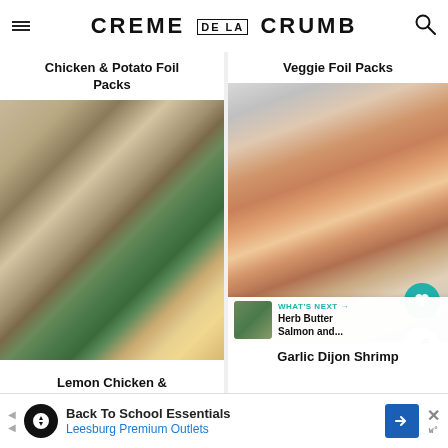CREME DE LA CRUMB
Chicken & Potato Foil Packs
[Figure (photo): Overhead photo of seasoned chicken with asparagus and lemon slices in an open foil pack]
Veggie Foil Packs
[Figure (photo): Overhead photo of salmon fillet with shrimp in garlic dijon sauce on an open foil pack]
WHAT'S NEXT → Herb Butter Salmon and...
Lemon Chicken &
Garlic Dijon Shrimp
Back To School Essentials
Leesburg Premium Outlets